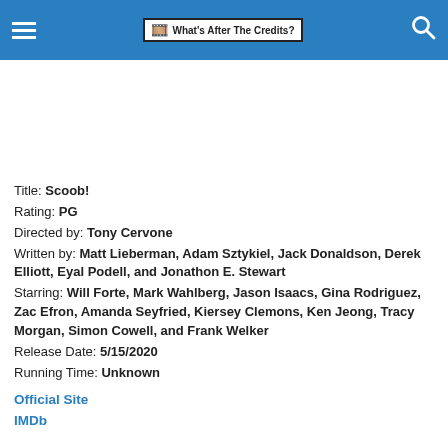What's After The Credits? [logo/nav bar]
Title: Scoob!
Rating: PG
Directed by: Tony Cervone
Written by: Matt Lieberman, Adam Sztykiel, Jack Donaldson, Derek Elliott, Eyal Podell, and Jonathon E. Stewart
Starring: Will Forte, Mark Wahlberg, Jason Isaacs, Gina Rodriguez, Zac Efron, Amanda Seyfried, Kiersey Clemons, Ken Jeong, Tracy Morgan, Simon Cowell, and Frank Welker
Release Date: 5/15/2020
Running Time: Unknown
Official Site
IMDb